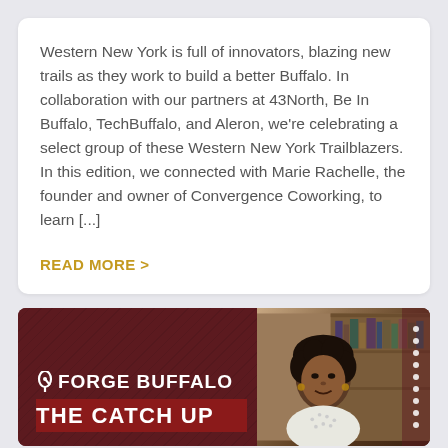Western New York is full of innovators, blazing new trails as they work to build a better Buffalo. In collaboration with our partners at 43North, Be In Buffalo, TechBuffalo, and Aleron, we're celebrating a select group of these Western New York Trailblazers. In this edition, we connected with Marie Rachelle, the founder and owner of Convergence Coworking, to learn [...]
READ MORE >
[Figure (logo): Forge Buffalo 'The Catch Up' banner with logo text and a photo of a woman on the right side]